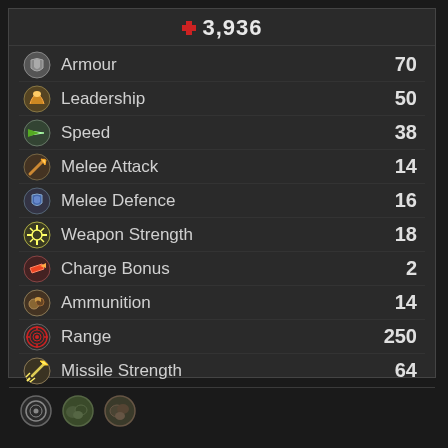3,936
| Stat | Value |
| --- | --- |
| Armour | 70 |
| Leadership | 50 |
| Speed | 38 |
| Melee Attack | 14 |
| Melee Defence | 16 |
| Weapon Strength | 18 |
| Charge Bonus | 2 |
| Ammunition | 14 |
| Range | 250 |
| Missile Strength | 64 |
[Figure (illustration): Three small circular ability/trait icons at the bottom of the panel]